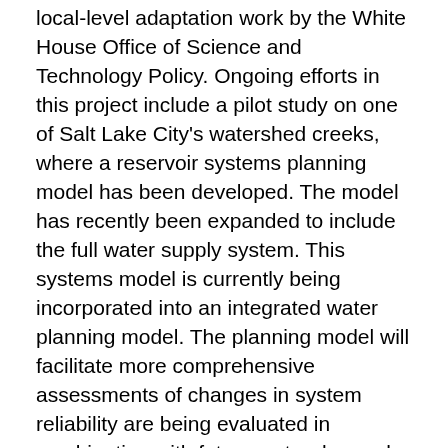local-level adaptation work by the White House Office of Science and Technology Policy. Ongoing efforts in this project include a pilot study on one of Salt Lake City's watershed creeks, where a reservoir systems planning model has been developed. The model has recently been expanded to include the full water supply system. This systems model is currently being incorporated into an integrated water planning model. The planning model will facilitate more comprehensive assessments of changes in system reliability are being evaluated in combination with future water demand, supply, infrastructure, and management scenarios. To add to available information on climate impacts to water supplies, Bardsley will work with colleagues to integrate soon-to-be-available high-resolution dynamically downscaled climate projections, test an expanded integrated water planning model, and develop more advanced water supply and demand scenarios to evaluate a range of possible future impacts to water supply to assist in defining low-regrets management